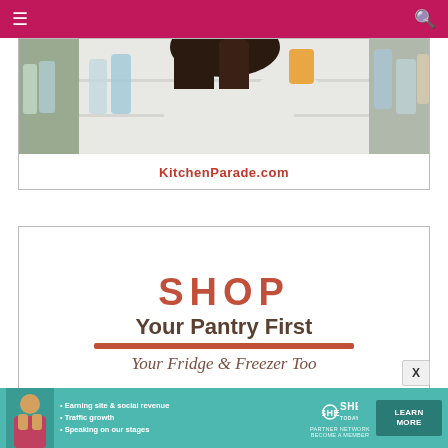Navigation bar with hamburger menu and search icon
[Figure (photo): Woman looking into a refrigerator with bottles and items on shelves]
KitchenParade.com
[Figure (infographic): SHOP Your Pantry First / Your Fridge & Freezer Too advertisement card]
SHE PARTNER NETWORK BECOME A MEMBER — Earning site & social revenue · Traffic growth · Speaking on our stages — LEARN MORE